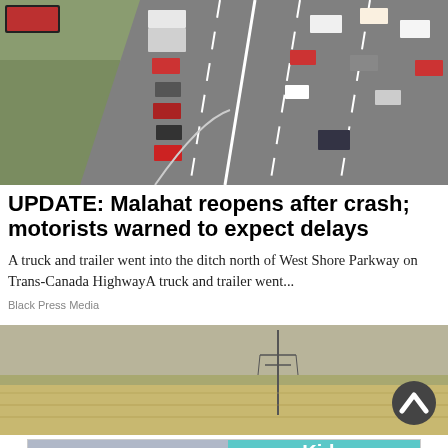[Figure (photo): Aerial traffic camera view of a multi-lane highway with cars and trucks, showing traffic congestion on one side and open lanes on the other, with dry scrubland visible on the left.]
UPDATE: Malahat reopens after crash; motorists warned to expect delays
A truck and trailer went into the ditch north of West Shore Parkway on Trans-Canada HighwayA truck and trailer went...
Black Press Media
[Figure (photo): Wide flat prairie landscape with power line tower visible, dry wheat or grain fields under an overcast sky.]
[Figure (photo): Advertisement banner showing a child riding a red bicycle on a track, with text 'Kids Bikes for everyone' on a teal/cyan background.]